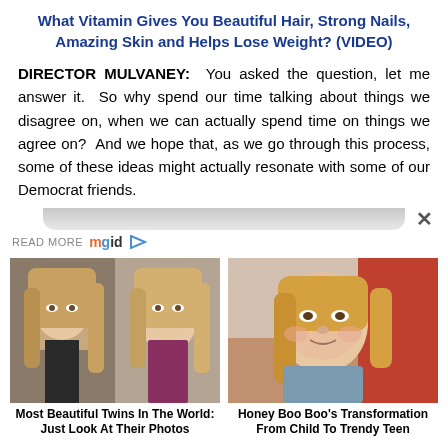What Vitamin Gives You Beautiful Hair, Strong Nails, Amazing Skin and Helps Lose Weight? (VIDEO)
DIRECTOR MULVANEY:  You asked the question, let me answer it.  So why spend our time talking about things we disagree on, when we can actually spend time on things we agree on?  And we hope that, as we go through this process, some of these ideas might actually resonate with some of our Democrat friends.
[Figure (other): READ MORE mgid logo with play button]
[Figure (photo): Most Beautiful Twins In The World: Just Look At Their Photos - two blonde girls]
Most Beautiful Twins In The World: Just Look At Their Photos
[Figure (photo): Honey Boo Boo's Transformation From Child To Trendy Teen - young girl on red couch]
Honey Boo Boo's Transformation From Child To Trendy Teen